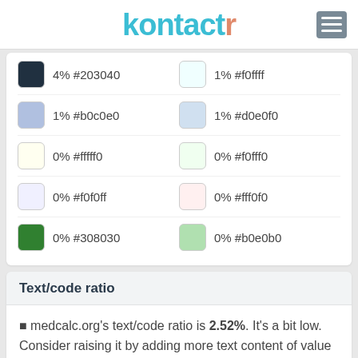kontactr
| Color | Value | Color | Value |
| --- | --- | --- | --- |
| #203040 swatch | 4% #203040 | #f0fff swatch | 1% #f0fff |
| #b0c0e0 swatch | 1% #b0c0e0 | #d0e0f0 swatch | 1% #d0e0f0 |
| #fffff0 swatch | 0% #fffff0 | #f0fff0 swatch | 0% #f0fff0 |
| #f0f0ff swatch | 0% #f0f0ff | #fff0f0 swatch | 0% #fff0f0 |
| #308030 swatch | 0% #308030 | #b0e0b0 swatch | 0% #b0e0b0 |
Text/code ratio
medcalc.org's text/code ratio is 2.52%. It's a bit low. Consider raising it by adding more text content of value for your visitors, or keeping your code clean.